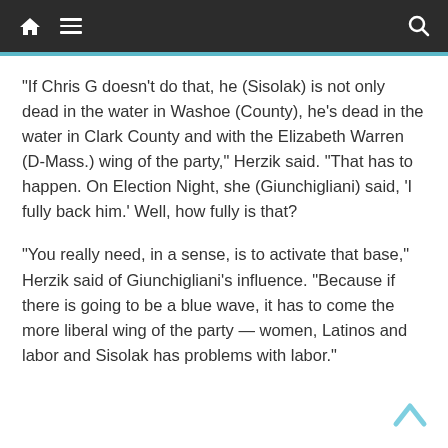Navigation bar with home, menu, and search icons
“If Chris G doesn’t do that, he (Sisolak) is not only dead in the water in Washoe (County), he’s dead in the water in Clark County and with the Elizabeth Warren (D-Mass.) wing of the party,” Herzik said. “That has to happen. On Election Night, she (Giunchigliani) said, ‘I fully back him.’ Well, how fully is that?
“You really need, in a sense, is to activate that base,” Herzik said of Giunchigliani’s influence. “Because if there is going to be a blue wave, it has to come the more liberal wing of the party — women, Latinos and labor and Sisolak has problems with labor.”